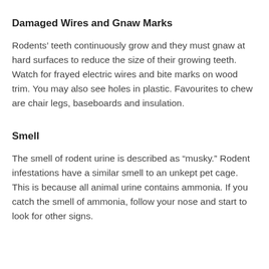Damaged Wires and Gnaw Marks
Rodents’ teeth continuously grow and they must gnaw at hard surfaces to reduce the size of their growing teeth. Watch for frayed electric wires and bite marks on wood trim. You may also see holes in plastic. Favourites to chew are chair legs, baseboards and insulation.
Smell
The smell of rodent urine is described as “musky.” Rodent infestations have a similar smell to an unkept pet cage. This is because all animal urine contains ammonia. If you catch the smell of ammonia, follow your nose and start to look for other signs.